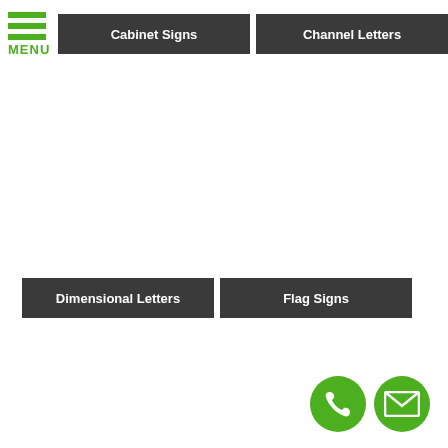MENU
Cabinet Signs
Channel Letters
Dimensional Letters
Flag Signs
[Figure (infographic): Phone icon - green circle with white telephone handset symbol]
[Figure (infographic): Email icon - green circle with white envelope symbol]